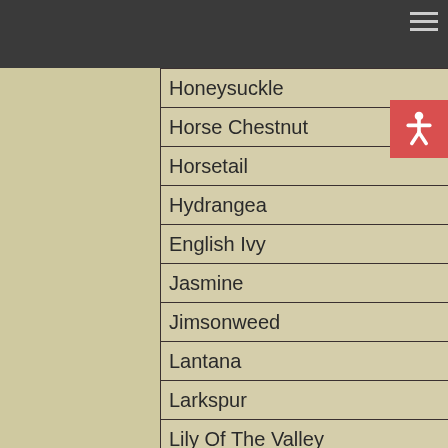Honeysuckle
Horse Chestnut
Horsetail
Hydrangea
English Ivy
Jasmine
Jimsonweed
Lantana
Larkspur
Lily Of The Valley
Easter Lily
Lupine
Marijuana
Mandrake
Mexican Poppy
Milkweed
Vetch